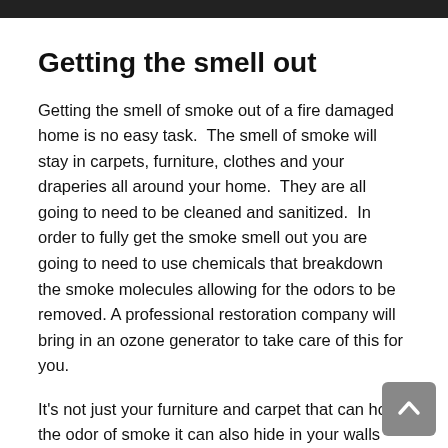[Figure (photo): Dark image bar at top of page (partial photo cropped)]
Getting the smell out
Getting the smell of smoke out of a fire damaged home is no easy task.  The smell of smoke will stay in carpets, furniture, clothes and your draperies all around your home.  They are all going to need to be cleaned and sanitized.  In order to fully get the smoke smell out you are going to need to use chemicals that breakdown the smoke molecules allowing for the odors to be removed.  A professional restoration company will bring in an ozone generator to take care of this for you.
It’s not just your furniture and carpet that can hold the odor of smoke it can also hide in your walls and if the smoke damage has penetrated the walls a restoration company may need to use a process called “thermal